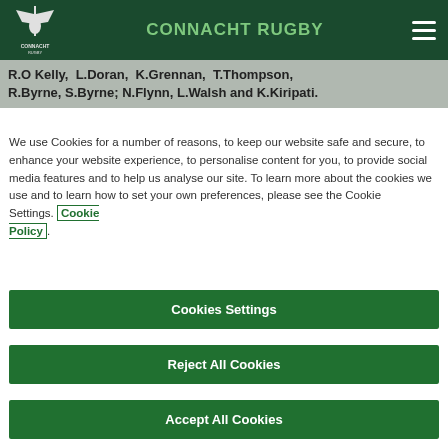CONNACHT RUGBY
R.O Kelly,  L.Doran,  K.Grennan,  T.Thompson, R.Byrne, S.Byrne; N.Flynn, L.Walsh and K.Kiripati.
We use Cookies for a number of reasons, to keep our website safe and secure, to enhance your website experience, to personalise content for you, to provide social media features and to help us analyse our site. To learn more about the cookies we use and to learn how to set your own preferences, please see the Cookie Settings. Cookie Policy.
Cookies Settings
Reject All Cookies
Accept All Cookies